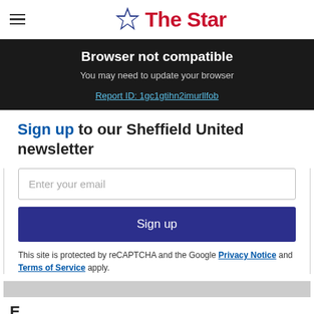The Star
Browser not compatible
You may need to update your browser
Report ID: 1gc1gtihn2imurllfob
Sign up to our Sheffield United newsletter
This site is protected by reCAPTCHA and the Google Privacy Notice and Terms of Service apply.
Footer teaser text beginning with 'E'